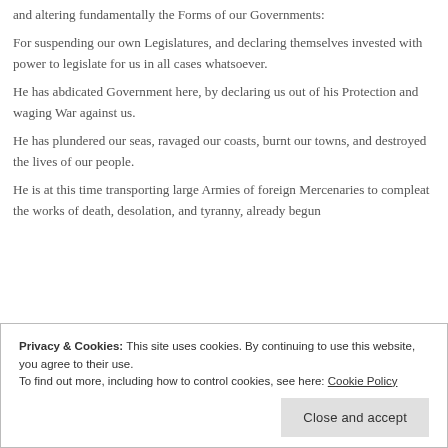and altering fundamentally the Forms of our Governments:
For suspending our own Legislatures, and declaring themselves invested with power to legislate for us in all cases whatsoever.
He has abdicated Government here, by declaring us out of his Protection and waging War against us.
He has plundered our seas, ravaged our coasts, burnt our towns, and destroyed the lives of our people.
He is at this time transporting large Armies of foreign Mercenaries to compleat the works of death, desolation, and tyranny, already begun
Privacy & Cookies: This site uses cookies. By continuing to use this website, you agree to their use.
To find out more, including how to control cookies, see here: Cookie Policy